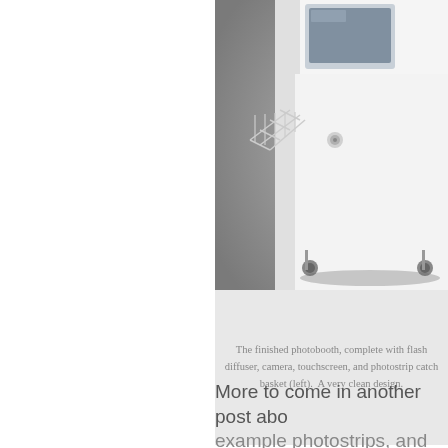[Figure (photo): A white photobooth kiosk on casters/wheels, shown against a gray background. The booth is tall and rectangular with a touchscreen monitor at the top and a wire basket catch tray on the left side. The photo is cropped showing the right portion of the booth.]
The finished photobooth, complete with flash diffuser, camera, touchscreen, and photostrip catch basket (left).  A very clean design.
More to come in another post abo... example photostrips, and what's...